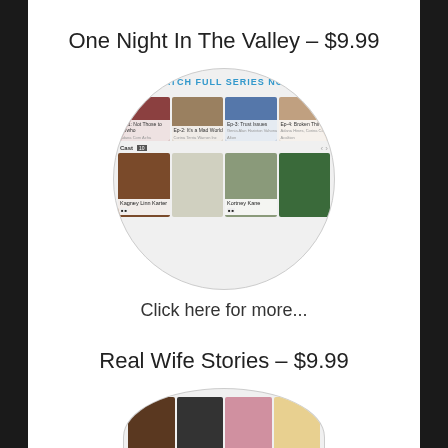One Night In The Valley – $9.99
[Figure (screenshot): Circular cropped screenshot of a video streaming website showing episode thumbnails and cast members for 'One Night In The Valley' series with a 'WATCH FULL SERIES NOW' banner]
Click here for more...
Real Wife Stories – $9.99
[Figure (screenshot): Circular cropped screenshot of a video streaming website showing episode thumbnails for 'Real Wife Stories' series (partially visible, cropped at bottom of page)]